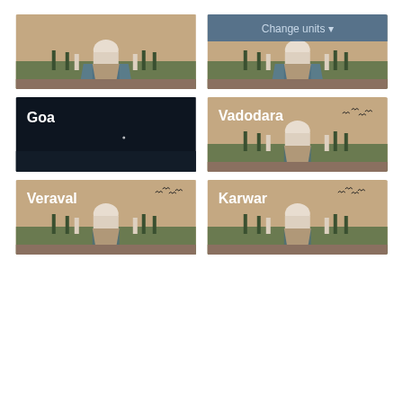[Figure (screenshot): App screenshot showing a grid of Indian city cards with Taj Mahal imagery. Top row: unnamed city card (left) and 'Change units' button overlay card (right). Middle row: 'Goa' dark/night sky card (left) and 'Vadodara' Taj Mahal card (right). Bottom row: 'Veraval' Taj Mahal sunset card (left) and 'Karwar' Taj Mahal sunset card (right).]